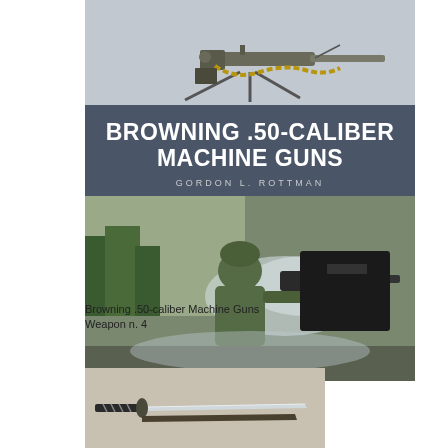[Figure (photo): Book cover of 'Browning .50-Caliber Machine Guns' by Gordon L. Rottman. Top portion shows a machine gun on a tripod against a gray background. Middle band is dark gray/slate with bold white title text. Bottom portion shows an action photo of a soldier operating a .50 caliber machine gun on what appears to be a boat.]
Browning .50-caliber Machine Guns
Weapon n. 4
[Figure (photo): Partial view of what appears to be a second book cover showing a katana/Japanese sword against a light background.]